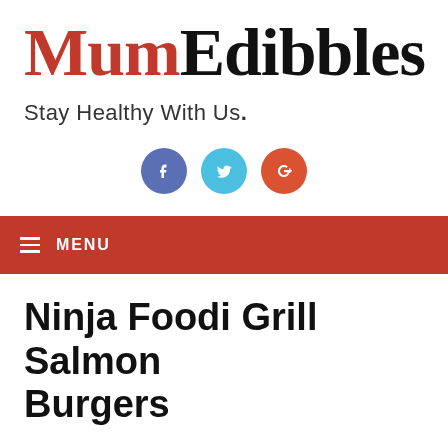MumEdibbles
Stay Healthy With Us.
[Figure (infographic): Three social media icon circles: Facebook (blue-purple), Twitter (light blue), Google+ (red-orange)]
≡ MENU
Ninja Foodi Grill Salmon Burgers